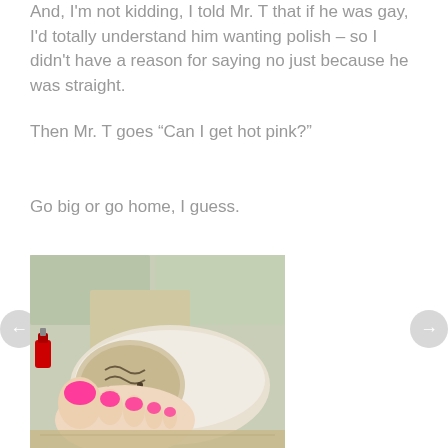And, I'm not kidding, I told Mr. T that if he was gay, I'd totally understand him wanting polish – so I didn't have a reason for saying no just because he was straight.
Then Mr. T goes “Can I get hot pink?”
Go big or go home, I guess.
[Figure (photo): Close-up photo of toes with hot pink nail polish resting on a decorative bowl, with tiled floor in background]